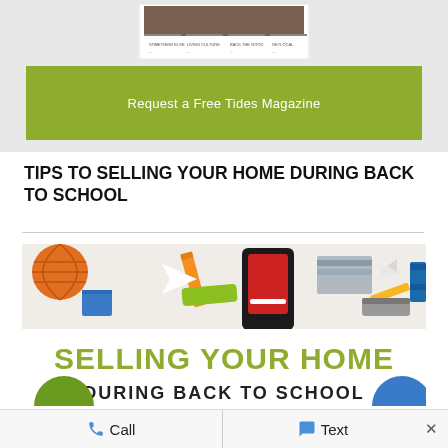[Figure (photo): Magazine thumbnail showing Tides Magazine cover with interior/home images]
Request a Free Tides Magazine
TIPS TO SELLING YOUR HOME DURING BACK TO SCHOOL
[Figure (infographic): Back to school promotional image showing school supplies, sneakers, basketball with overlaid text: SELLING YOUR HOME DURING BACK TO SCHOOL]
Call  Text  ×